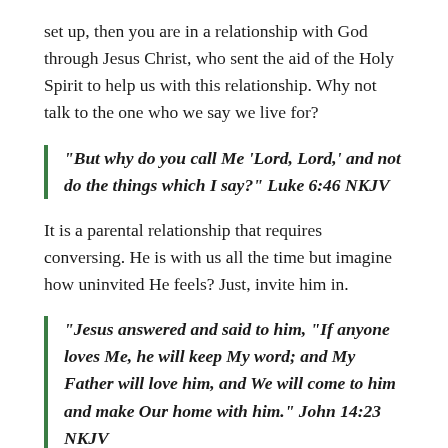set up, then you are in a relationship with God through Jesus Christ, who sent the aid of the Holy Spirit to help us with this relationship. Why not talk to the one who we say we live for?
“But why do you call Me ‘Lord, Lord,’ and not do the things which I say?” Luke 6:46 NKJV
It is a parental relationship that requires conversing. He is with us all the time but imagine how uninvited He feels? Just, invite him in.
“Jesus answered and said to him, “If anyone loves Me, he will keep My word; and My Father will love him, and We will come to him and make Our home with him.” John 14:23 NKJV